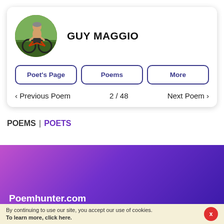[Figure (photo): Circular profile photo of Guy Maggio on a bicycle, shirtless, outdoors]
GUY MAGGIO
Poet's Page
Poems
More
< Previous Poem   2 / 48   Next Poem >
POEMS | POETS
[Figure (screenshot): Purple gradient banner background for Poemhunter.com]
Poemhunter.com
By continuing to use our site, you accept our use of cookies. To learn more, click here.